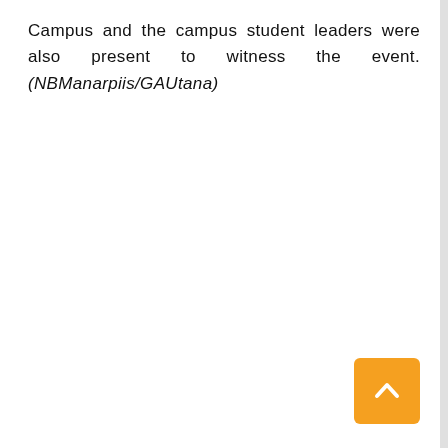Campus and the campus student leaders were also present to witness the event. (NBManarpiis/GAUtana)
[Figure (other): Orange square button with white upward-pointing chevron arrow (back-to-top navigation button)]